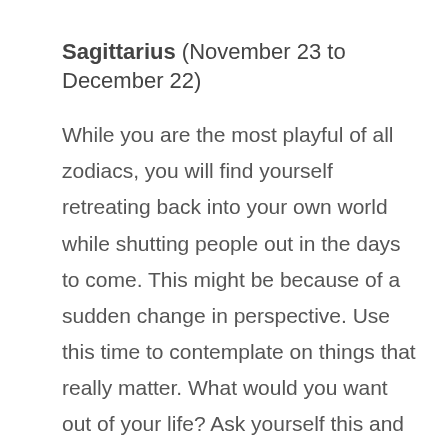Sagittarius (November 23 to December 22)
While you are the most playful of all zodiacs, you will find yourself retreating back into your own world while shutting people out in the days to come. This might be because of a sudden change in perspective. Use this time to contemplate on things that really matter. What would you want out of your life? Ask yourself this and you may start rearranging your priorities.